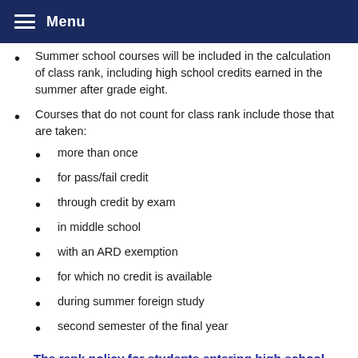Menu
Summer school courses will be included in the calculation of class rank, including high school credits earned in the summer after grade eight.
Courses that do not count for class rank include those that are taken:
more than once
for pass/fail credit
through credit by exam
in middle school
with an ARD exemption
for which no credit is available
during summer foreign study
second semester of the final year
The rank policy for students entering high school